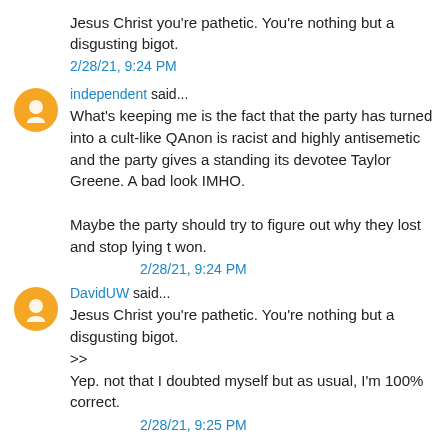Jesus Christ you're pathetic. You're nothing but a disgusting bigot.
2/28/21, 9:24 PM
independent said...
What's keeping me is the fact that the party has turned into a cult-like QAnon is racist and highly antisemetic and the party gives a standing its devotee Taylor Greene. A bad look IMHO.

Maybe the party should try to figure out why they lost and stop lying t won.
2/28/21, 9:24 PM
DavidUW said...
Jesus Christ you're pathetic. You're nothing but a disgusting bigot.
>>
Yep. not that I doubted myself but as usual, I'm 100% correct.
2/28/21, 9:25 PM